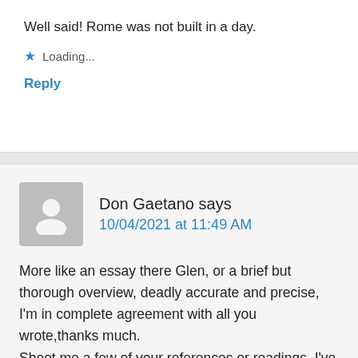Well said! Rome was not built in a day.
★ Loading...
Reply
Don Gaetano says
10/04/2021 at 11:49 AM
More like an essay there Glen, or a brief but thorough overview, deadly accurate and precise, I'm in complete agreement with all you wrote,thanks much. Shoot me a few of your references or readings. I've read S&S by Raymond and